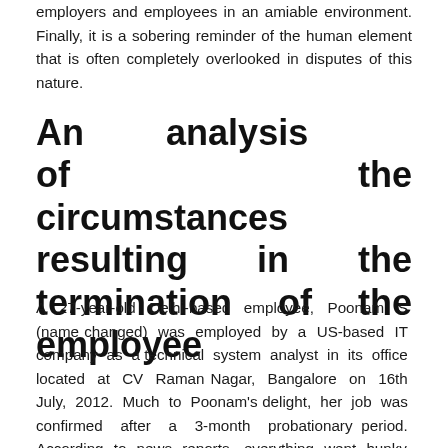employers and employees in an amiable environment. Finally, it is a sobering reminder of the human element that is often completely overlooked in disputes of this nature.
An analysis of the circumstances resulting in the termination of the employee
A 27-year-old Delhi-based employee, Poonam S (name changed) was employed by a US-based IT company as a technical system analyst in its office located at CV Raman Nagar, Bangalore on 16th July, 2012. Much to Poonam's delight, her job was confirmed after a 3-month probationary period. According to news reports, everything went hunky-dory for almost 1 year thereafter. As a matter of fact, she even got a salary hike of 8% on 8th May, 2013 whereas all her